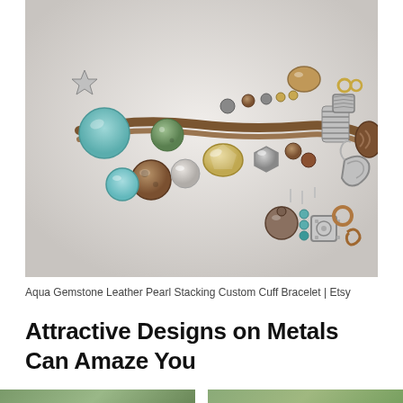[Figure (photo): Close-up photograph of an Aqua Gemstone Leather Pearl Stacking Custom Cuff Bracelet on a light grey/white background. The bracelet features multiple strands with aqua/teal gemstone beads, brown leather cord, grey pearls, silver metal beads, and various charms including a decorative silver square charm, stone bead, and copper ring charm, connected by a silver lobster claw clasp.]
Aqua Gemstone Leather Pearl Stacking Custom Cuff Bracelet | Etsy
Attractive Designs on Metals Can Amaze You
[Figure (photo): Partial view of two small green/teal colored jewelry or craft images at the bottom of the page, cropped.]